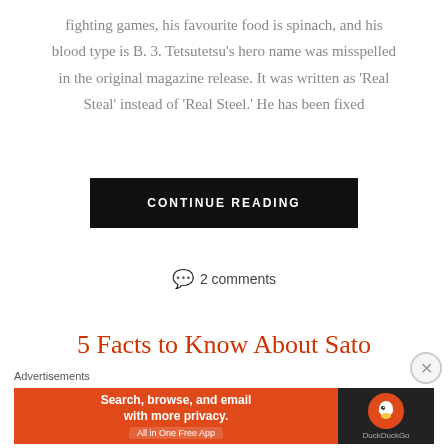fighting games, his favourite food is spinach, and his blood type is B. 3. Tetsutetsu’s hero name was misspelled in the original magazine release. It was written as ‘Real Steal’ instead of ‘Real Steel.’ He has been fixed
CONTINUE READING
2 comments
5 Facts to Know About Sato
Advertisements
[Figure (other): DuckDuckGo advertisement banner: orange section with text 'Search, browse, and email with more privacy. All in One Free App' and dark section with DuckDuckGo duck logo]